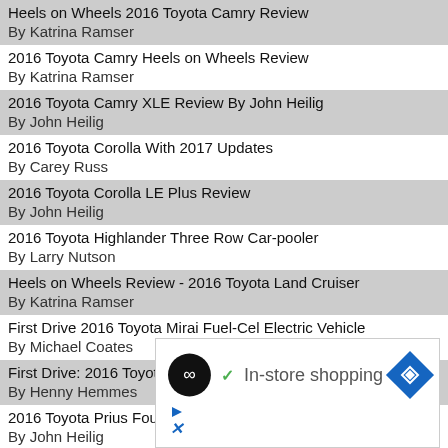Heels on Wheels 2016 Toyota Camry Review
By Katrina Ramser
2016 Toyota Camry Heels on Wheels Review
By Katrina Ramser
2016 Toyota Camry XLE Review By John Heilig
By John Heilig
2016 Toyota Corolla With 2017 Updates
By Carey Russ
2016 Toyota Corolla LE Plus Review
By John Heilig
2016 Toyota Highlander Three Row Car-pooler
By Larry Nutson
Heels on Wheels Review - 2016 Toyota Land Cruiser
By Katrina Ramser
First Drive 2016 Toyota Mirai Fuel-Cel Electric Vehicle
By Michael Coates
First Drive: 2016 Toyota Prius
By Henny Hemmes
2016 Toyota Prius Four
By John Heilig
[Figure (infographic): Advertisement box with logo (black circle with chain-link icon), checkmark, text 'In-store shopping', blue diamond navigation icon, play button icon, and X icon.]